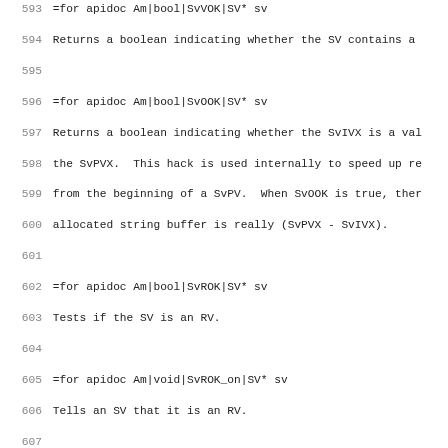593 =for apidoc Am|bool|SvVOK|SV* sv
594 Returns a boolean indicating whether the SV contains a
595
596 =for apidoc Am|bool|SvOOK|SV* sv
597 Returns a boolean indicating whether the SvIVX is a val
598 the SvPVX.  This hack is used internally to speed up re
599 from the beginning of a SvPV.  When SvOOK is true, ther
600 allocated string buffer is really (SvPVX - SvIVX).
601
602 =for apidoc Am|bool|SvROK|SV* sv
603 Tests if the SV is an RV.
604
605 =for apidoc Am|void|SvROK_on|SV* sv
606 Tells an SV that it is an RV.
607
608 =for apidoc Am|void|SvROK_off|SV* sv
609 Unsets the RV status of an SV.
610
611 =for apidoc Am|SV*|SvRV|SV* sv
612 Dereferences an RV to return the SV.
613
614 =for apidoc Am|IV|SvIVX|SV* sv
615 Returns the raw value in the SV's IV slot, without chec
616 Only use when you are sure SvIOK is true. See also C<Sv
617
618 =for apidoc Am|UV|SvUVX|SV* sv
619 Returns the raw value in the SV's UV slot, without chec
620 Only use when you are sure SvIOK is true. See also C<Sv
621
622 =for apidoc Am|NV|SvNVX|SV* sv
623 Returns the raw value in the SV's NV slot, without chec
624 Only use when you are sure SvNOK is true. See also C<Sv
625